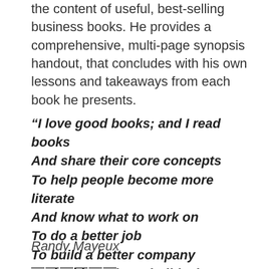the content of useful, best-selling business books. He provides a comprehensive, multi-page synopsis handout, that concludes with his own lessons and takeaways from each book he presents.
“I love good books; and I read books And share their core concepts To help people become more literate And know what to work on To do a better job To build a better company And, ultimately, to build a better life.”
Randy Mayeux
——————.